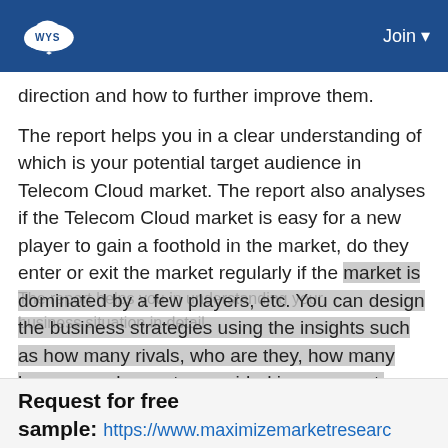WYS | Join
direction and how to further improve them.
The report helps you in a clear understanding of which is your potential target audience in Telecom Cloud market. The report also analyses if the Telecom Cloud market is easy for a new player to gain a foothold in the market, do they enter or exit the market regularly if the market is dominated by a few players, etc. You can design the business strategies using the insights such as how many rivals, who are they, how many buyers you have etc. provided in our report.
Request for free sample: https://www.maximizemarketresearc